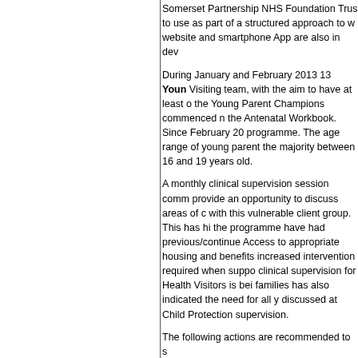Somerset Partnership NHS Foundation Trust to use as part of a structured approach to w website and smartphone App are also in de
During January and February 2013 13 Young Visiting team, with the aim to have at least o the Young Parent Champions commenced n the Antenatal Workbook. Since February 20 programme. The age range of young parent the majority between 16 and 19 years old.
A monthly clinical supervision session comm provide an opportunity to discuss areas of c with this vulnerable client group. This has hi the programme have had previous/continue Access to appropriate housing and benefits increased intervention required when suppo clinical supervision for Health Visitors is bei families has also indicated the need for all y discussed at Child Protection supervision.
The following actions are recommended to s
continued discussions with commissione to deliver this enhanced provision to this